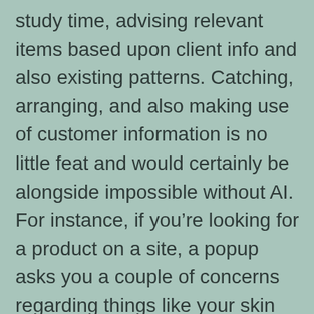study time, advising relevant items based upon client info and also existing patterns. Catching, arranging, and also making use of customer information is no little feat and would certainly be alongside impossible without AI. For instance, if you're looking for a product on a site, a popup asks you a couple of concerns regarding things like your skin type as well as preferences. Based upon your solutions and also based upon what various other customers like you have actually liked, the algorithm gives you item suggestions.